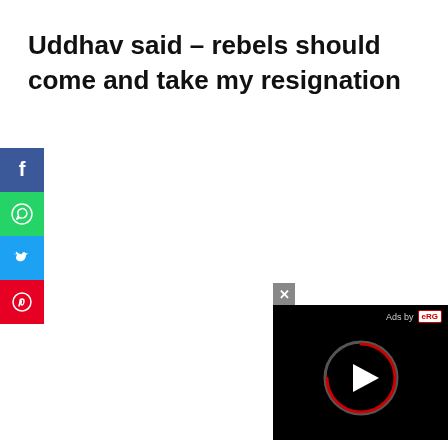Uddhav said – rebels should come and take my resignation
[Figure (other): Social media share buttons: Facebook (blue), WhatsApp (green), Twitter (blue), Pinterest (red)]
[Figure (other): Video ad overlay with close button, 'Ads by eRG' label, and play button on black background]